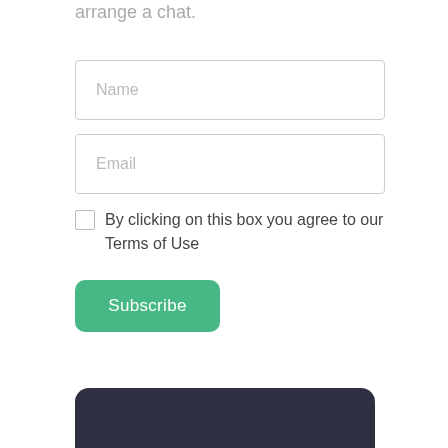arrange a chat.
[Figure (screenshot): Name input field with placeholder text 'Name', a form text box with border]
[Figure (screenshot): Email input field with placeholder text 'Email', a form text box with border]
By clicking on this box you agree to our Terms of Use
[Figure (screenshot): Green rounded Subscribe button]
[Figure (screenshot): Dark rounded box at bottom of page, partially visible]